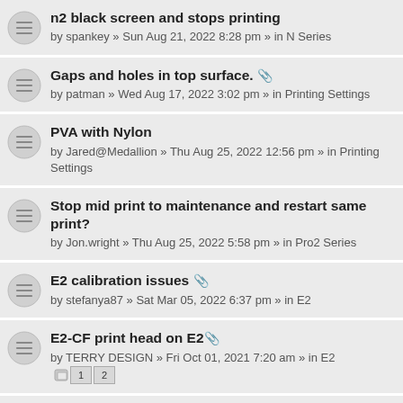n2 black screen and stops printing
by spankey » Sun Aug 21, 2022 8:28 pm » in N Series
Gaps and holes in top surface. [attachment]
by patman » Wed Aug 17, 2022 3:02 pm » in Printing Settings
PVA with Nylon
by Jared@Medallion » Thu Aug 25, 2022 12:56 pm » in Printing Settings
Stop mid print to maintenance and restart same print?
by Jon.wright » Thu Aug 25, 2022 5:58 pm » in Pro2 Series
E2 calibration issues [attachment]
by stefanya87 » Sat Mar 05, 2022 6:37 pm » in E2
E2-CF print head on E2 [attachment]
by TERRY DESIGN » Fri Oct 01, 2021 7:20 am » in E2  [pages: 1 2]
IdeaMaker Pro3 BED SIZE Software Issue?
by D_E » Thu Jul 21, 2022 1:03 pm » in Software
Bridging VS Shell Count [attachment]
by Chandler » Tue Aug 16, 2022 6:48 am » in Software